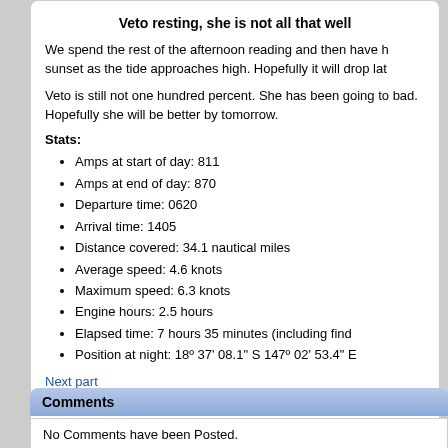Veto resting, she is not all that well
We spend the rest of the afternoon reading and then have h sunset as the tide approaches high. Hopefully it will drop lat
Veto is still not one hundred percent. She has been going to bad. Hopefully she will be better by tomorrow.
Stats:
Amps at start of day: 811
Amps at end of day: 870
Departure time: 0620
Arrival time: 1405
Distance covered: 34.1 nautical miles
Average speed: 4.6 knots
Maximum speed: 6.3 knots
Engine hours: 2.5 hours
Elapsed time: 7 hours 35 minutes (including find
Position at night: 18º 37' 08.1" S 147º 02' 53.4" E
Next part
Return to Our Yachting Adventures
Comments
No Comments have been Posted.